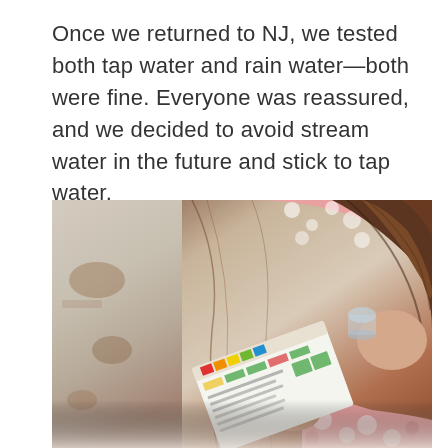Once we returned to NJ, we tested both tap water and rain water—both were fine. Everyone was reassured, and we decided to avoid stream water in the future and stick to tap water.
[Figure (photo): A child wearing red and white patterned pajamas leans over a weathered white-painted wooden table, reading a water testing strip result card. The child's brown hair falls forward as they examine the card closely.]